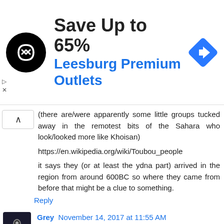[Figure (infographic): Advertisement banner for Leesburg Premium Outlets. Shows a circular black logo with a chain-link icon, text 'Save Up to 65%' in bold dark and 'Leesburg Premium Outlets' in blue, and a blue diamond navigation icon on the right.]
(there are/were apparently some little groups tucked away in the remotest bits of the Sahara who look/looked more like Khoisan)
https://en.wikipedia.org/wiki/Toubou_people
it says they (or at least the ydna part) arrived in the region from around 600BC so where they came from before that might be a clue to something.
Reply
Grey  November 14, 2017 at 11:55 AM
Roy King said...
"Wandering sommeliers could be the answer!"
the type of the pesti inti ati area of this